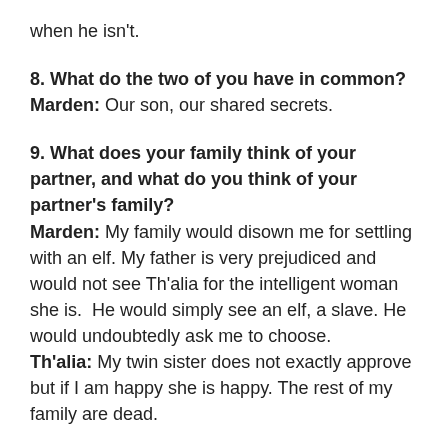when he isn't.
8. What do the two of you have in common?
Marden: Our son, our shared secrets.
9. What does your family think of your partner, and what do you think of your partner's family?
Marden: My family would disown me for settling with an elf. My father is very prejudiced and would not see Th'alia for the intelligent woman she is.  He would simply see an elf, a slave. He would undoubtedly ask me to choose.
Th'alia: My twin sister does not exactly approve but if I am happy she is happy. The rest of my family are dead.
10. What role does magic play in your relationship?